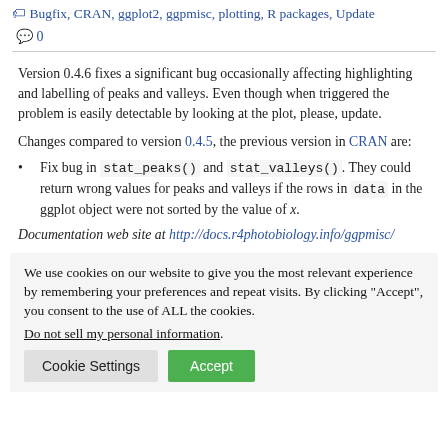Bugfix, CRAN, ggplot2, ggpmisc, plotting, R packages, Update
0
Version 0.4.6 fixes a significant bug occasionally affecting highlighting and labelling of peaks and valleys. Even though when triggered the problem is easily detectable by looking at the plot, please, update.
Changes compared to version 0.4.5, the previous version in CRAN are:
Fix bug in stat_peaks() and stat_valleys(). They could return wrong values for peaks and valleys if the rows in data in the ggplot object were not sorted by the value of x.
Documentation web site at http://docs.r4photobiology.info/ggpmisc/
We use cookies on our website to give you the most relevant experience by remembering your preferences and repeat visits. By clicking “Accept”, you consent to the use of ALL the cookies. Do not sell my personal information.